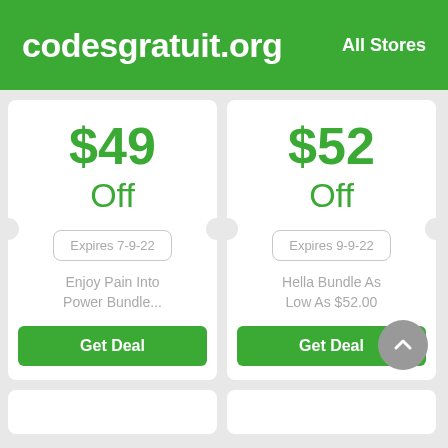codesgratuit.org   All Stores
$49 Off
Expires 7-9-22
Enjoy Pain Into Power Bundle...
Get Deal
$52 Off
Expires 9-9-22
Hella Bundle As Low As $52.00
Get Deal